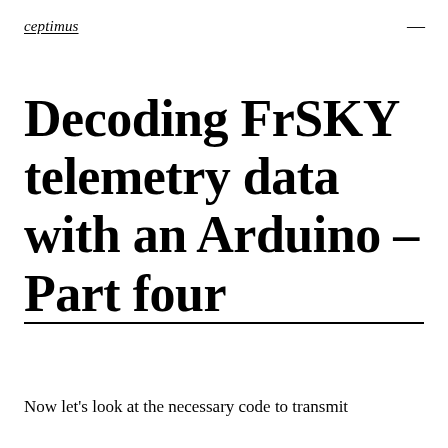ceptimus
Decoding FrSKY telemetry data with an Arduino – Part four
Now let's look at the necessary code to transmit telemetry data from our microcontroller.